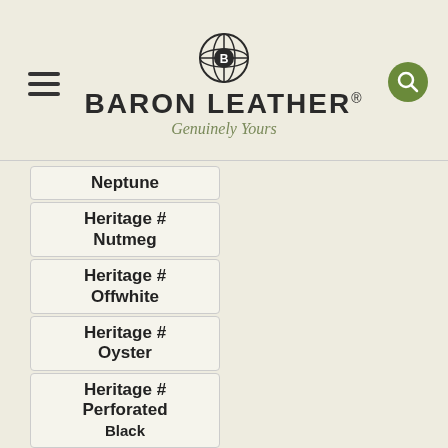[Figure (logo): Baron Leather logo with globe icon, bold text BARON LEATHER with registered trademark, and tagline Genuinely Yours in olive green italic]
Neptune
Heritage # Nutmeg
Heritage # Offwhite
Heritage # Oyster
Heritage # Perforated Black
Heritage # Pistachio
Heritage # Portland